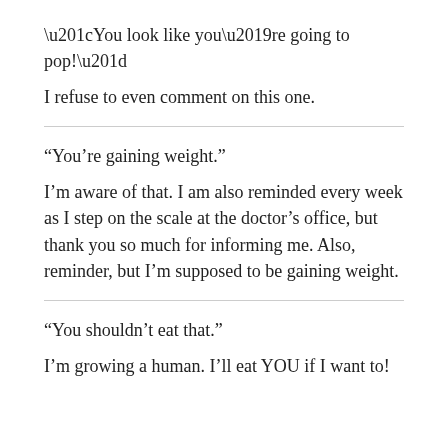“You look like you’re going to pop!”
I refuse to even comment on this one.
“You’re gaining weight.”
I’m aware of that. I am also reminded every week as I step on the scale at the doctor’s office, but thank you so much for informing me. Also, reminder, but I’m supposed to be gaining weight.
“You shouldn’t eat that.”
I’m growing a human. I’ll eat YOU if I want to!